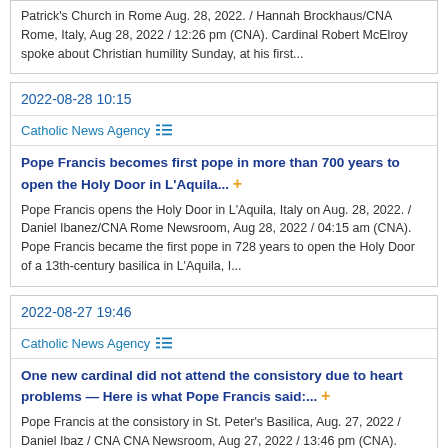Patrick's Church in Rome Aug. 28, 2022. / Hannah Brockhaus/CNA Rome, Italy, Aug 28, 2022 / 12:26 pm (CNA). Cardinal Robert McElroy spoke about Christian humility Sunday, at his first...
2022-08-28 10:15
Catholic News Agency
Pope Francis becomes first pope in more than 700 years to open the Holy Door in L'Aquila... +
Pope Francis opens the Holy Door in L'Aquila, Italy on Aug. 28, 2022. / Daniel Ibanez/CNA Rome Newsroom, Aug 28, 2022 / 04:15 am (CNA). Pope Francis became the first pope in 728 years to open the Holy Door of a 13th-century basilica in L'Aquila, I...
2022-08-27 19:46
Catholic News Agency
One new cardinal did not attend the consistory due to heart problems — Here is what Pope Francis said:... +
Pope Francis at the consistory in St. Peter's Basilica, Aug. 27, 2022 / Daniel Ibaz / CNA CNA Newsroom, Aug 27, 2022 / 13:46 pm (CNA). Pope...